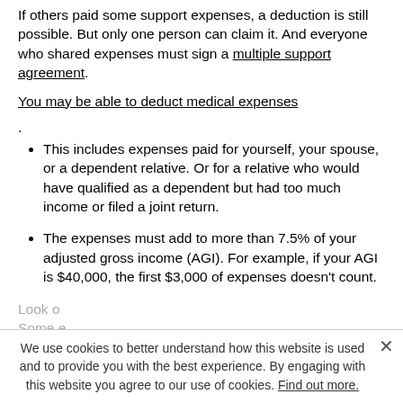If others paid some support expenses, a deduction is still possible. But only one person can claim it. And everyone who shared expenses must sign a multiple support agreement.
You may be able to deduct medical expenses.
This includes expenses paid for yourself, your spouse, or a dependent relative. Or for a relative who would have qualified as a dependent but had too much income or filed a joint return.
The expenses must add to more than 7.5% of your adjusted gross income (AGI). For example, if your AGI is $40,000, the first $3,000 of expenses doesn't count.
Look at what expenses you can deduct. Some expenses...
Home improvements: such as grab bars and...
We use cookies to better understand how this website is used and to provide you with the best experience. By engaging with this website you agree to our use of cookies. Find out more.